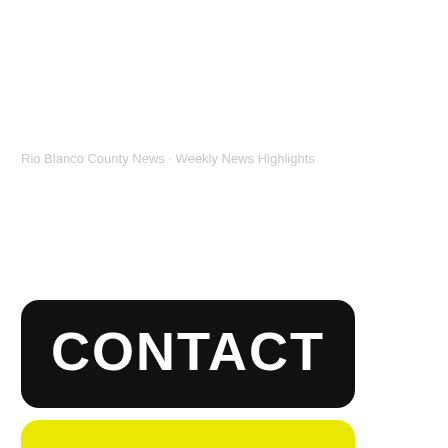Rio Blanco County News · Weekly News Highlights
[Figure (illustration): Black rounded rectangle button with white bold text reading CONTACT]
[Figure (illustration): Yellow rounded rectangle button (partially visible at bottom)]